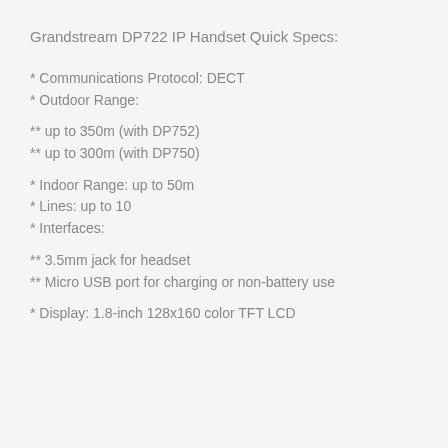Grandstream DP722 IP Handset Quick Specs:
* Communications Protocol: DECT
* Outdoor Range:
** up to 350m (with DP752)
** up to 300m (with DP750)
* Indoor Range: up to 50m
* Lines: up to 10
* Interfaces:
** 3.5mm jack for headset
** Micro USB port for charging or non-battery use
* Display: 1.8-inch 128x160 color TFT LCD